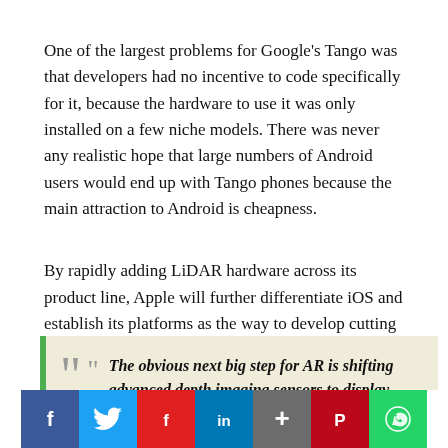One of the largest problems for Google's Tango was that developers had no incentive to code specifically for it, because the hardware to use it was only installed on a few niche models. There was never any realistic hope that large numbers of Android users would end up with Tango phones because the main attraction to Android is cheapness.
By rapidly adding LiDAR hardware across its product line, Apple will further differentiate iOS and establish its platforms as the way to develop cutting edge AR applications empowered by LiDAR's "time of flight" sensing data.
The obvious next big step for AR is shifting advanced depth imaging sensors to display computer-generated graphics on a lens you look through, rather
[Figure (other): Social share bar with Facebook, Twitter, Flipboard, LinkedIn, plus, Pinterest, and WhatsApp buttons]